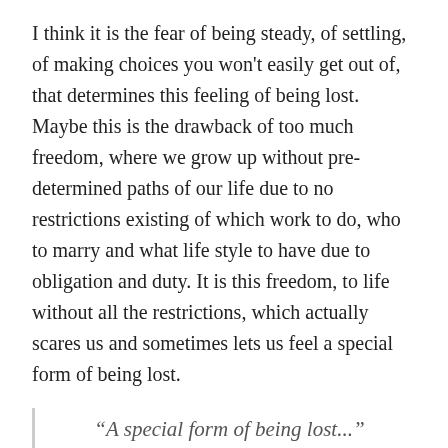I think it is the fear of being steady, of settling, of making choices you won't easily get out of, that determines this feeling of being lost. Maybe this is the drawback of too much freedom, where we grow up without pre-determined paths of our life due to no restrictions existing of which work to do, who to marry and what life style to have due to obligation and duty. It is this freedom, to life without all the restrictions, which actually scares us and sometimes lets us feel a special form of being lost.
“A special form of being lost...”
Ways to deal with uncertainty, a high degree of freedom and the development of decision-making abilities is something that maybe is underdeveloped and hence leads to personal indetermination and a state of mind of being lost. This is the “bad side” of too much freedom.